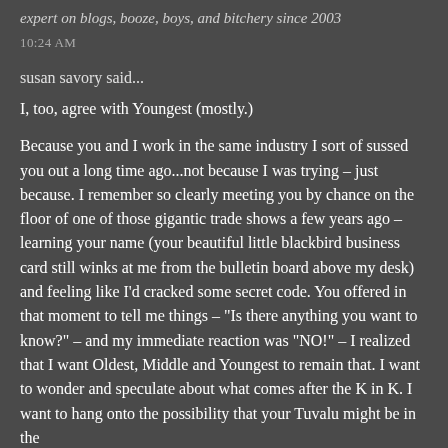expert on blogs, booze, boys, and bitchery since 2003
10:24 AM
susan savory said...
I, too, agree with Youngest (mostly.)
Because you and I work in the same industry I sort of sussed you out a long time ago...not because I was trying – just because. I remember so clearly meeting you by chance on the floor of one of those gigantic trade shows a few years ago – learning your name (your beautiful little blackbird business card still winks at me from the bulletin board above my desk) and feeling like I'd cracked some secret code. You offered in that moment to tell me things – "Is there anything you want to know?" – and my immediate reaction was "NO!" – I realized that I want Oldest, Middle and Youngest to remain that. I want to wonder and speculate about what comes after the K in K. I want to hang onto the possibility that your Tuvalu might be in the